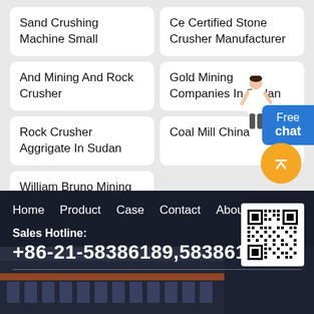Sand Crushing Machine Small
Ce Certified Stone Crusher Manufacturer
And Mining And Rock Crusher
Gold Mining Companies In Sudan
Rock Crusher Aggrigate In Sudan
Coal Mill China
William Bruno Mining Engineer Ghana
Free chat
Home   Product   Case   Contact   About
Sales Hotline:
+86-21-58386189,58386176
[Figure (other): QR code for contact]